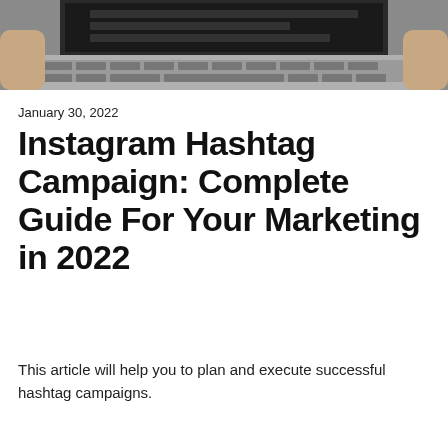[Figure (photo): Photo of a laptop keyboard with hands typing, partially cropped at top of page]
January 30, 2022
Instagram Hashtag Campaign: Complete Guide For Your Marketing in 2022
This article will help you to plan and execute successful hashtag campaigns.